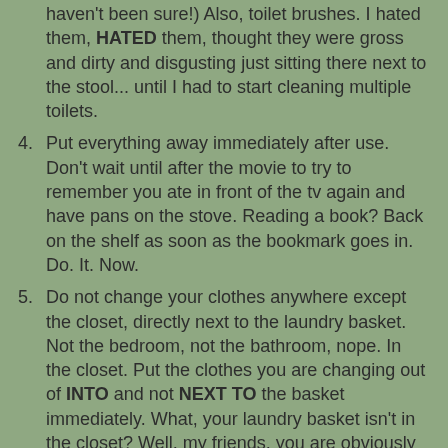(continuation) haven't been sure!) Also, toilet brushes. I hated them, HATED them, thought they were gross and dirty and disgusting just sitting there next to the stool... until I had to start cleaning multiple toilets.
4. Put everything away immediately after use. Don't wait until after the movie to try to remember you ate in front of the tv again and have pans on the stove. Reading a book? Back on the shelf as soon as the bookmark goes in. Do. It. Now.
5. Do not change your clothes anywhere except the closet, directly next to the laundry basket. Not the bedroom, not the bathroom, nope. In the closet. Put the clothes you are changing out of INTO and not NEXT TO the basket immediately. What, your laundry basket isn't in the closet? Well, my friends, you are obviously not living in a staged house. That stuff needs hidden from view at all times, but don't think for a minute that you don't have to stage the closet as well.
6. On hardwood floors:
Doubling up on the Swiffer floor dusters makes 3,500 feet of hardwoods dusted